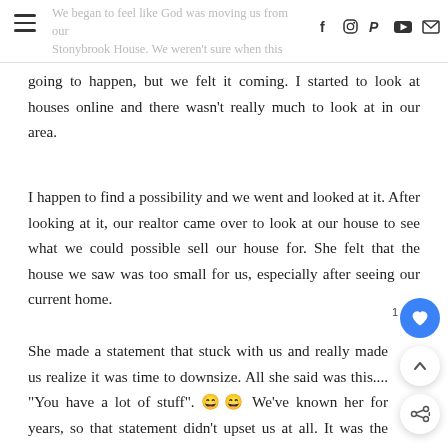We began to feel like God was moving us from our Stonybrook House. We weren't sure when this was going to happen, but we felt it coming.
going to happen, but we felt it coming.  I started to look at houses online and there wasn't really much to look at in our area.
I happen to find a possibility and we went and looked at it.  After looking at it, our realtor came over to look at our house to see what we could possible sell our house for.  She felt that the house we saw was too small for us, especially after seeing our current home.
She made a statement that stuck with us and really made us realize it was time to downsize.  All she said was this....  "You have a lot of stuff".  😄😄 We've known her for years, so that statement didn't upset us at all.  It was the truth.